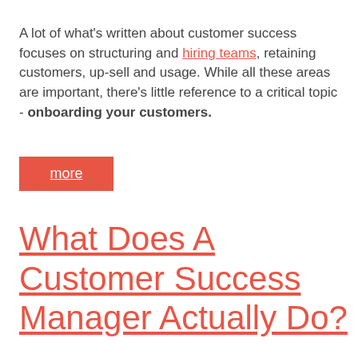A lot of what's written about customer success focuses on structuring and hiring teams, retaining customers, up-sell and usage. While all these areas are important, there's little reference to a critical topic - onboarding your customers.
more
What Does A Customer Success Manager Actually Do?